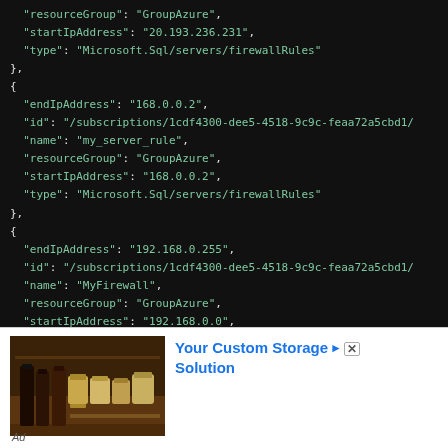JSON code showing Azure SQL firewall rules with resourceGroup, startIpAddress, endIpAddress, id, name, type fields for multiple entries including my_server_rule, MyFirewall, query-editor-b3baec
[Figure (photo): Advertisement banner showing a kitchen spice storage solution with shelves and bottles]
Your Custom Storage Solution
Ad